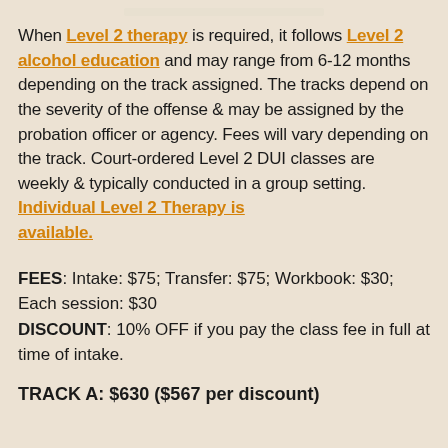When Level 2 therapy is required, it follows Level 2 alcohol education and may range from 6-12 months depending on the track assigned. The tracks depend on the severity of the offense & may be assigned by the probation officer or agency. Fees will vary depending on the track. Court-ordered Level 2 DUI classes are weekly & typically conducted in a group setting. Individual Level 2 Therapy is available.
FEES: Intake: $75; Transfer: $75; Workbook: $30; Each session: $30
DISCOUNT: 10% OFF if you pay the class fee in full at time of intake.
TRACK A: $630 ($567 per discount)